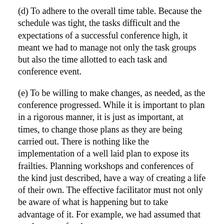(d) To adhere to the overall time table. Because the schedule was tight, the tasks difficult and the expectations of a successful conference high, it meant we had to manage not only the task groups but also the time allotted to each task and conference event.
(e) To be willing to make changes, as needed, as the conference progressed. While it is important to plan in a rigorous manner, it is just as important, at times, to change those plans as they are being carried out. There is nothing like the implementation of a well laid plan to expose its frailties. Planning workshops and conferences of the kind just described, have a way of creating a life of their own. The effective facilitator must not only be aware of what is happening but to take advantage of it. For example, we had assumed that work groups for the